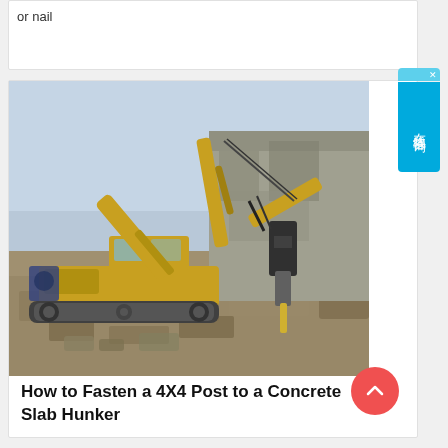or nail
[Figure (photo): A large yellow excavator with a hydraulic attachment working at a stone quarry or demolition site, surrounded by rubble and rocky terrain.]
How to Fasten a 4X4 Post to a Concrete Slab Hunker